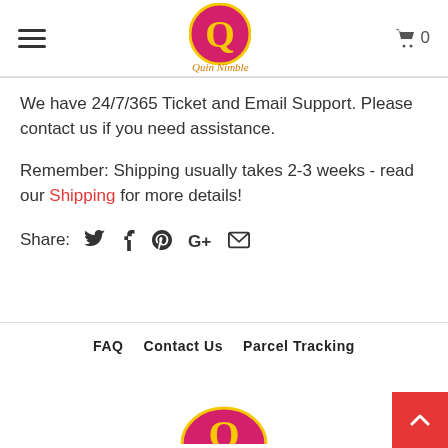Quin Nimble – navigation header with hamburger menu, logo, and cart icon (0 items)
We have 24/7/365 Ticket and Email Support. Please contact us if you need assistance.
Remember: Shipping usually takes 2-3 weeks - read our Shipping for more details!
Share:
FAQ   Contact Us   Parcel Tracking